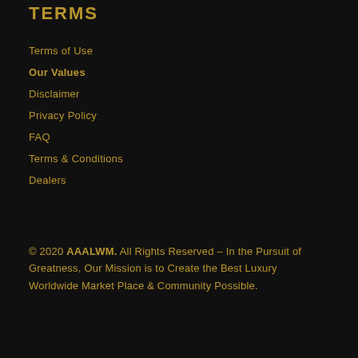TERMS
Terms of Use
Our Values
Disclaimer
Privacy Policy
FAQ
Terms & Conditions
Dealers
© 2020 AAALWM. All Rights Reserved – In the Pursuit of Greatness, Our Mission is to Create the Best Luxury Worldwide Market Place & Community Possible.